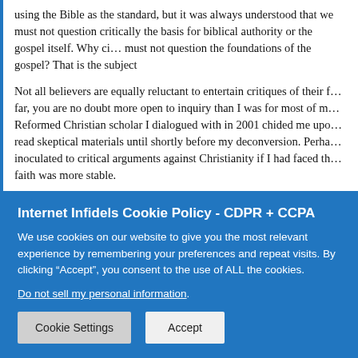using the Bible as the standard, but it was always understood that we must not question critically the basis for biblical authority or the gospel itself. Why Christians must not question the foundations of the gospel? That is the subject
Not all believers are equally reluctant to entertain critiques of their faith. If you've read this far, you are no doubt more open to inquiry than I was for most of my life. A Reformed Christian scholar I dialogued with in 2001 chided me upon learning that I had not read skeptical materials until shortly before my deconversion. Perhaps I would have been better inoculated to critical arguments against Christianity if I had faced them earlier, when my faith was more stable.
However, as a member of the evangelical faith, was I to blame for not reading them sooner? In all my years of faithful church attendance, Bible studies, Christian school, leadership training, and seminary, I do not recall one sermon, not one injunctio
Internet Infidels Cookie Policy - CDPR + CCPA
We use cookies on our website to give you the most relevant experience by remembering your preferences and repeat visits. By clicking “Accept”, you consent to the use of ALL the cookies.
Do not sell my personal information.